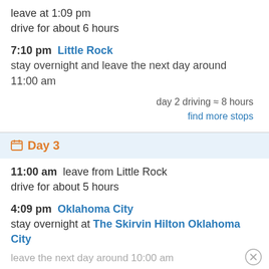leave at 1:09 pm
drive for about 6 hours
7:10 pm  Little Rock
stay overnight and leave the next day around 11:00 am
day 2 driving ≈ 8 hours
find more stops
Day 3
11:00 am  leave from Little Rock
drive for about 5 hours
4:09 pm  Oklahoma City
stay overnight at The Skirvin Hilton Oklahoma City
leave the next day around 10:00 am